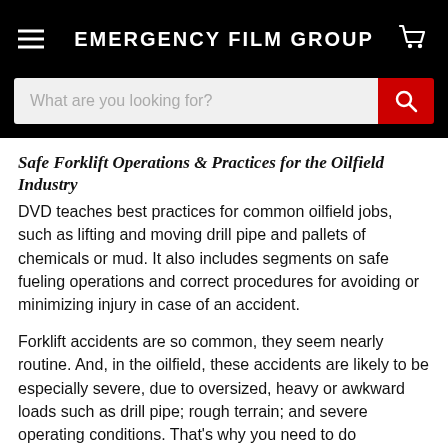EMERGENCY FILM GROUP
Safe Forklift Operations & Practices for the Oilfield Industry
DVD teaches best practices for common oilfield jobs, such as lifting and moving drill pipe and pallets of chemicals or mud. It also includes segments on safe fueling operations and correct procedures for avoiding or minimizing injury in case of an accident.
Forklift accidents are so common, they seem nearly routine. And, in the oilfield, these accidents are likely to be especially severe, due to oversized, heavy or awkward loads such as drill pipe; rough terrain; and severe operating conditions. That's why you need to do everything you can to ensure the